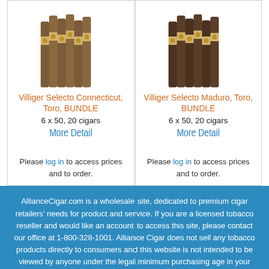[Figure (photo): Bundle of cigars - Villiger Selecto Connecticut, Toro]
Villiger Selecto Connecticut, Toro, BUNDLE
6 x 50, 20 cigars
More Detail
Please log in to access prices and to order.
[Figure (photo): Bundle of cigars - Villiger Selecto Maduro, Toro]
Villiger Selecto Maduro, Toro, BUNDLE
6 x 50, 20 cigars
More Detail
Please log in to access prices and to order.
AllianceCigar.com is a wholesale site, dedicated to premium cigar retailers' needs for product and service. If you are a licensed tobacco reseller and would like an account to access this site, please contact our office at 1-800-328-1001. Alliance Cigar does not sell any tobacco products directly to consumers and this website is not intended to be viewed by anyone under the legal minimum purchasing age in your jurisdiction. If you are not of the legal purchasing age, please do not enter this website.